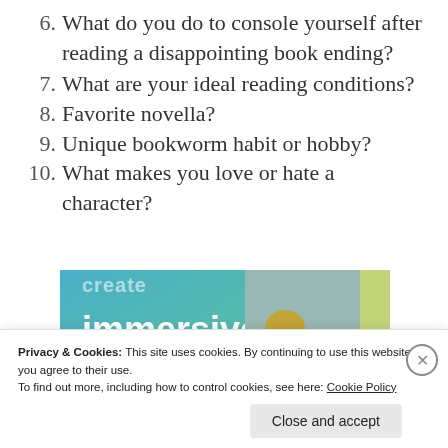6. What do you do to console yourself after reading a disappointing book ending?
7. What are your ideal reading conditions?
8. Favorite novella?
9. Unique bookworm habit or hobby?
10. What makes you love or hate a character?
[Figure (illustration): Advertisement banner showing text 'immersive stories.' on a blue-green gradient background with a photo of a person in a yellow jacket near a waterfall and a phone screen overlay]
Privacy & Cookies: This site uses cookies. By continuing to use this website, you agree to their use.
To find out more, including how to control cookies, see here: Cookie Policy
Close and accept